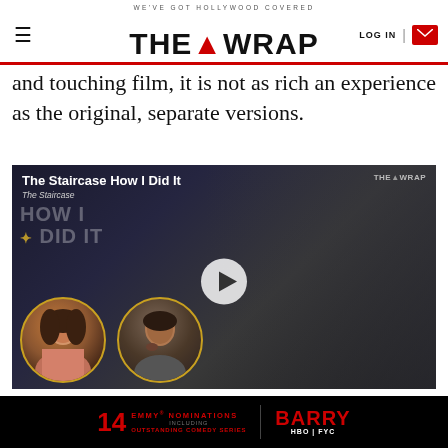WE'VE GOT HOLLYWOOD COVERED | THE WRAP | LOG IN
and touching film, it is not as rich an experience as the original, separate versions.
[Figure (screenshot): Video thumbnail for 'The Staircase How I Did It' featuring two circular portrait photos of a woman and a man, with a play button overlay, against a dark background with court scene imagery. The Wrap logo appears in the upper right corner.]
[Figure (infographic): Advertisement banner: '14 EMMY NOMINATIONS INCLUDING OUTSTANDING COMEDY SERIES' with Barry HBO FYC branding on black background]